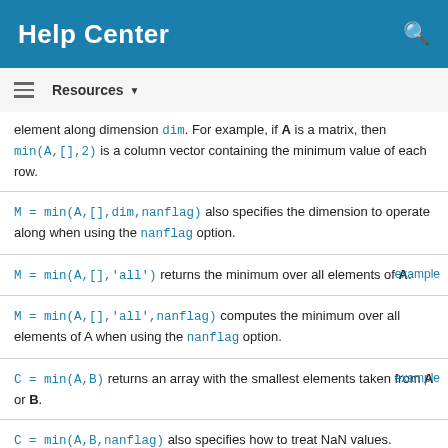Help Center
Resources ▼
element along dimension dim. For example, if A is a matrix, then min(A,[],2) is a column vector containing the minimum value of each row.
M = min(A,[],dim,nanflag) also specifies the dimension to operate along when using the nanflag option.
M = min(A,[],'all') returns the minimum over all elements of A.
M = min(A,[],'all',nanflag) computes the minimum over all elements of A when using the nanflag option.
C = min(A,B) returns an array with the smallest elements taken from A or B.
C = min(A,B,nanflag) also specifies how to treat NaN values.